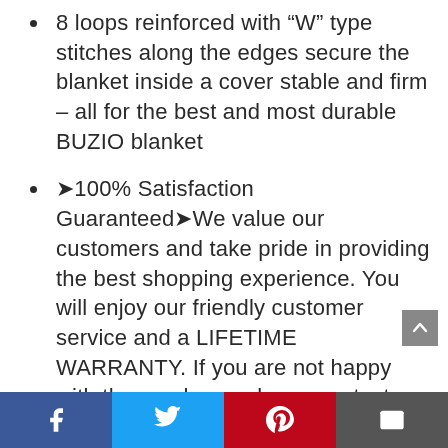8 loops reinforced with “W” type stitches along the edges secure the blanket inside a cover stable and firm – all for the best and most durable BUZIO blanket
»100% Satisfaction Guaranteed«We value our customers and take pride in providing the best shopping experience. You will enjoy our friendly customer service and a LIFETIME WARRANTY. If you are not happy with the purchase, please contact us, we will offer full refund / replacement, no questions asked.